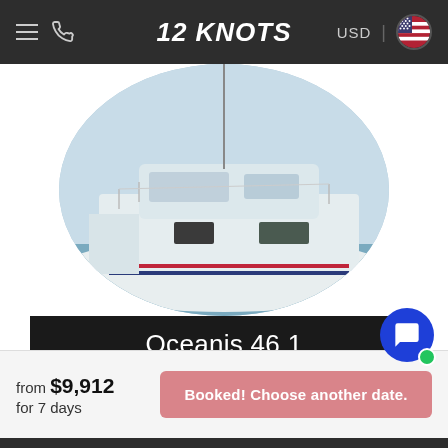12 KNOTS  USD
[Figure (photo): Circular cropped photo of a white sailing yacht (Oceanis 46.1) docked at a marina, showing the hull, cabin, and deck railings from a side angle.]
Oceanis 46.1
Oceanis 46.1 is comfortable and fantastic sailing yacht available for rent in St Martin. Equipped with 3 cabins and 8 berths this yacht can accommodate up to
from $9,912
for 7 days
Booked! Choose another date.